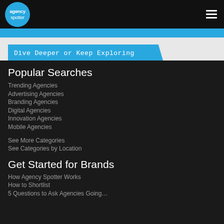[Figure (logo): Agency Spotter logo: blue circle with white text 'agency spotter' inside, plus hamburger menu icon on right]
Dive Deeper or Keep Exploring
Popular Searches
Trending Agencies
Advertising Agencies
Branding Agencies
Digital Agencies
Innovation Agencies
Mobile Agencies
See More Categories
See Categories by Location
Get Started for Brands
How Agency Spotter Works
How to Shortlist